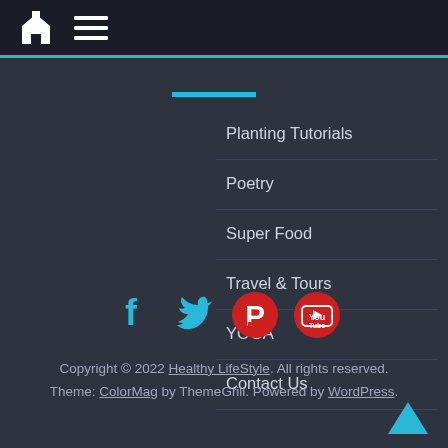Home | Menu
Planting Tutorials
Poetry
Super Food
Travel & Tours
YOGA
Contact Us
[Figure (infographic): Social media icons: Facebook, Twitter, Pinterest, YouTube]
Copyright © 2022 Healthy LifeStyle. All rights reserved. Theme: ColorMag by ThemeGrill. Powered by WordPress.